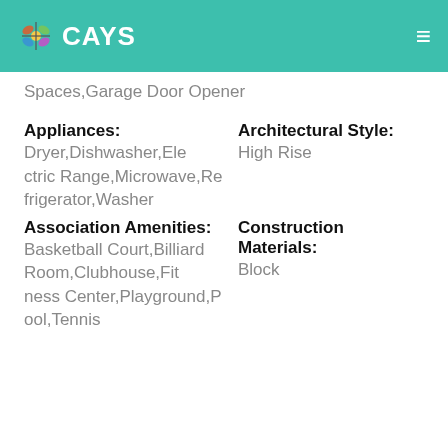CAYS
Spaces,Garage Door Opener
Appliances: Dryer,Dishwasher,Electric Range,Microwave,Refrigerator,Washer
Architectural Style: High Rise
Association Amenities: Basketball Court,Billiard Room,Clubhouse,Fitness Center,Playground,Pool,Tennis
Construction Materials: Block